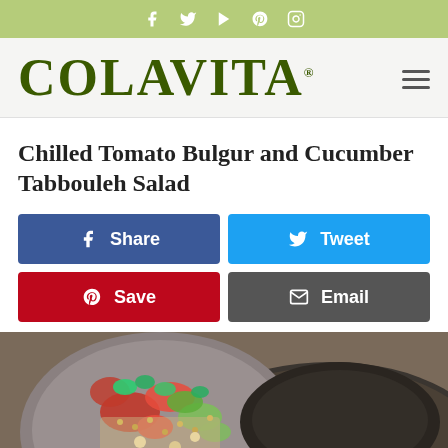Colavita social media icons bar (Facebook, Twitter, Play, Pinterest, Instagram)
COLAVITA
Chilled Tomato Bulgur and Cucumber Tabbouleh Salad
[Figure (screenshot): Four social sharing buttons: Share (Facebook, blue), Tweet (Twitter, light blue), Save (Pinterest, red), Email (dark gray)]
[Figure (photo): Photo of a tabbouleh salad with chopped tomatoes, cucumber, bulgur and herbs served in a plate, with a dark bowl in the background]